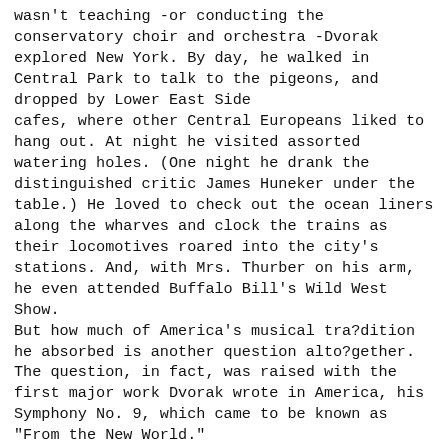wasn't teaching -or conducting the conservatory choir and orchestra -Dvorak explored New York. By day, he walked in Central Park to talk to the pigeons, and dropped by Lower East Side cafes, where other Central Europeans liked to hang out. At night he visited assorted watering holes. (One night he drank the distinguished critic James Huneker under the table.) He loved to check out the ocean liners along the wharves and clock the trains as their locomotives roared into the city's stations. And, with Mrs. Thurber on his arm, he even attended Buffalo Bill's Wild West Show.
But how much of America's musical tra?dition he absorbed is another question alto?gether. The question, in fact, was raised with the first major work Dvorak wrote in America, his Symphony No. 9, which came to be known as "From the New World."
Dvorak began sketching his e-minor symphony only three months after he arrived at the dock in Hoboken. (He was always meticulous about dating his manu?scripts, both at the beginning and at the end of work on a piece, and the pages of the symphony tell us that he worked from January 10 until May 24,1893.) And while he was writing his Symphony No. 9, he remarked, "The influence of America can be felt by anyone who has a 'nose.'" We can excuse Dvorak's strangely mixed